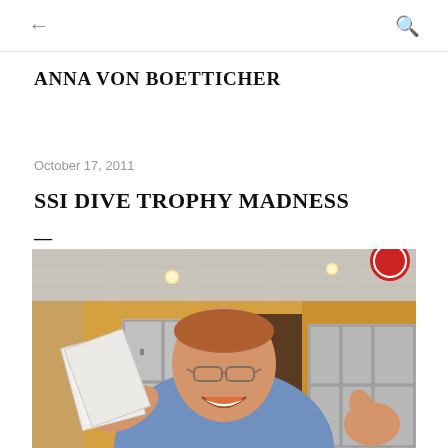← (back) Q (search)
ANNA VON BOETTICHER
October 17, 2011
SSI DIVE TROPHY MADNESS
—
[Figure (photo): A smiling man wearing glasses and a blue t-shirt, holding up papers in a locker room setting with yellow walls and grey metal lockers in the background.]